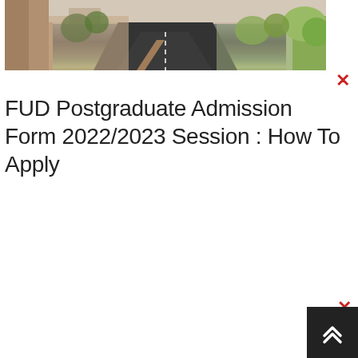[Figure (photo): Campus entrance photo showing a road/driveway leading through a gate with brick or stone structures on the left, trees and landscaping on the right, against a light sky.]
FUD Postgraduate Admission Form 2022/2023 Session : How To Apply